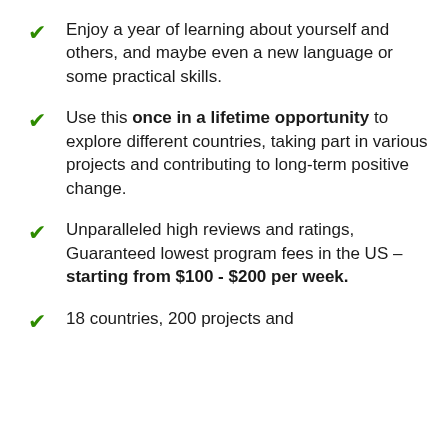Enjoy a year of learning about yourself and others, and maybe even a new language or some practical skills.
Use this once in a lifetime opportunity to explore different countries, taking part in various projects and contributing to long-term positive change.
Unparalleled high reviews and ratings, Guaranteed lowest program fees in the US – starting from $100 - $200 per week.
18 countries, 200 projects and [continues below]